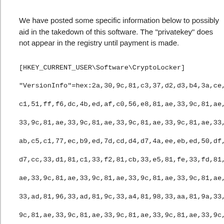We have posted some specific information below to possibly aid in the takedown of this software. The "privatekey" does not appear in the registry until payment is made.
[HKEY_CURRENT_USER\Software\CryptoLocker]
"VersionInfo"=hex:2a,30,9c,81,c3,37,d2,d3,b4,3a,ce,d3,f4,5e,f6,f8,c7,56
c1,51,ff,f6,dc,4b,ed,af,c0,56,e8,81,ae,33,9c,81,ae,33,9c,81,ae,33,9c,81,
33,9c,81,ae,33,9c,81,ae,33,9c,81,ae,33,9c,81,ae,33,9c,b0,96,5a,d9,fb,9
ab,c5,c1,77,ec,b9,ed,7d,cd,d4,d7,4a,ee,eb,ed,50,df,b6,f6,70,db,c5,c8,0
d7,cc,33,d1,81,c1,33,f2,81,cb,33,e5,81,fe,33,fd,81,c5,33,9c,81,ae,33,9c
ae,33,9c,81,ae,33,9c,81,ae,33,9c,81,ae,33,9c,81,ae,33,aa,81,9e,33,a4,
33,ad,81,96,33,ad,81,9c,33,a4,81,98,33,aa,81,9a,33,a5,81,9a,33,9c,81,
9c,81,ae,33,9c,81,ae,33,9c,81,ae,33,9c,81,ae,33,9c,81,ae,33,9c,81,ae,
81,ae,33,9c,81,ae,33,9c,81,ae,33,9c,81,ae,33,9c,81,ae,33,9c,81,ae,33,